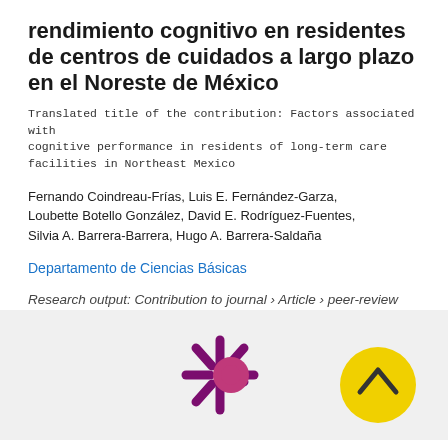rendimiento cognitivo en residentes de centros de cuidados a largo plazo en el Noreste de México
Translated title of the contribution: Factors associated with cognitive performance in residents of long-term care facilities in Northeast Mexico
Fernando Coindreau-Frías, Luis E. Fernández-Garza, Loubette Botello González, David E. Rodríguez-Fuentes, Silvia A. Barrera-Barrera, Hugo A. Barrera-Saldaña
Departamento de Ciencias Básicas
Research output: Contribution to journal › Article › peer-review
[Figure (logo): Altmetric/Pure logo: a purple asterisk-like symbol with a magenta circle, and a yellow circle button with an upward arrow on the right]